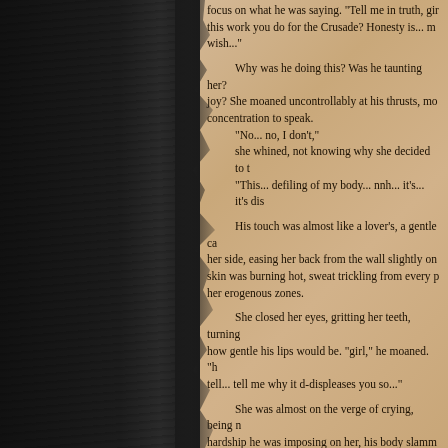focus on what he was saying. "Tell me in truth, girl, this work you do for the Crusade? Honesty is... m wish..."
Why was he doing this? Was he taunting her? joy? She moaned uncontrollably at his thrusts, mo concentration to speak.
"No... no, I don't,"
she whined, not knowing why she decided to t
"This... defiling of my body... nnh... it's... it's dis
His touch was almost like a lover's, a gentle ca her side, easing her back from the wall slightly on skin was burning hot, sweat trickling from every p her erogenous zones.
She closed her eyes, gritting her teeth, turning how gentle his lips would be. "girl," he moaned. "h tell... tell me why it d-displeases you so..."
She was almost on the verge of crying, being n hardship he was imposing on her, his body slamm through her moistening insides — Light forgive, sh consent of her brain. She recited in her head the l humiliation, stuttering as she responded to his que
"Th- this... it goes against everything I... I've be